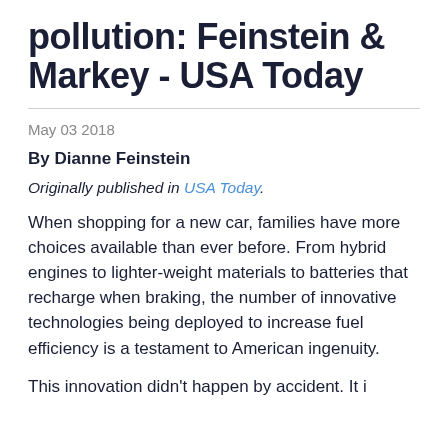pollution: Feinstein & Markey - USA Today
May 03 2018
By Dianne Feinstein
Originally published in USA Today.
When shopping for a new car, families have more choices available than ever before. From hybrid engines to lighter-weight materials to batteries that recharge when braking, the number of innovative technologies being deployed to increase fuel efficiency is a testament to American ingenuity.
This innovation didn't happen by accident. It i